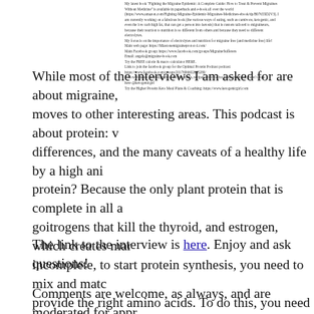My latest book 'Fighting the Migraine Epidemic: A Complete Guide: How to Treat & Prevent Migraines Without Medicine' is available in paperback and e-book all over the world (https://www.amazon.com/Fighting-Migraine-Epidemic-Migraines-Medicines-ebook/dp/B07655D2V3). I am currently working on a fabulous book (the various ways of eating, such as carnivore, ketogenic, and even the low carb high fat, that can get a person into ketosis) that is custom tailored to migraineurs, because their reaction to nutrition is so different from others and because they need so different electrolytes. My focus is on the importance of electrolytes and nutrition for migraine free (and medicine free) life! Main web page: https://Miastonemigraineprotocol.com/ Main Facebook group: https://www.facebook.com/groups/MigraineSufferers Email: angela@migraine-book.com Try the FREE calorie & macro calculator HERE. Link to join the facebook group for the Optimal Protein Podcast podcast: https://www.facebook.com/groups/2017696602695280/ Follow Vanessa on Instagram to see her meals, recipes, informative posts and much more! Click here @ketogenicgirl Try the Higher Protein Keto Meal Plans & Coaching: https://www.ketogenicgirl.com
While most of the interviews I am asked for are about migraine, moves to other interesting areas. This podcast is about protein: v differences, and the many caveats of a healthy life by a high ani protein? Because the only plant protein that is complete in all a goitrogens that kill the thyroid, and estrogen, which creates mar incomplete, to start protein synthesis, you need to mix and matc provide the right amino acids. To do this, you need to have a pr Animal proteins are always complete so you can just sit down a winning strategy as far as I am concerned.
The link to the interview is here. Enjoy and ask questions!
Comments are welcome, as always, and are moderated for appr